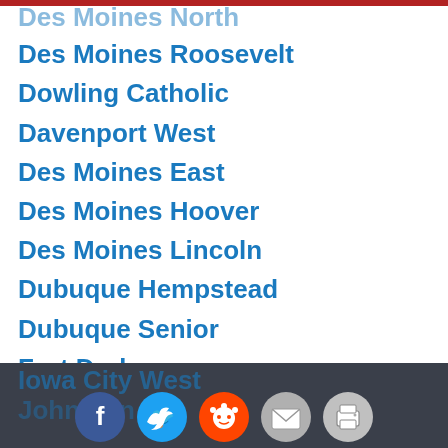Des Moines North
Des Moines Roosevelt
Dowling Catholic
Davenport West
Des Moines East
Des Moines Hoover
Des Moines Lincoln
Dubuque Hempstead
Dubuque Senior
Fort Dodge
Indianola
Iowa City High
Iowa City West
Johnston
Social share icons: Facebook, Twitter, Reddit, Email, Print